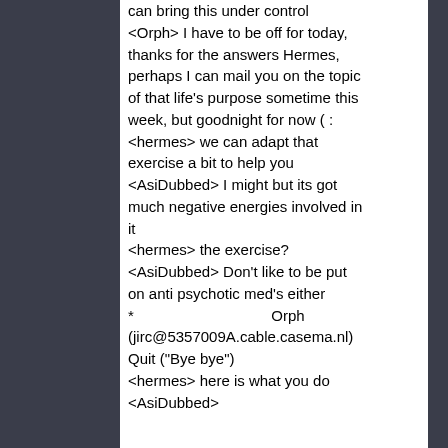can bring this under control <Orph> I have to be off for today, thanks for the answers Hermes, perhaps I can mail you on the topic of that life's purpose sometime this week, but goodnight for now ( : <hermes> we can adapt that exercise a bit to help you <AsiDubbed> I might but its got much negative energies involved in it <hermes> the exercise? <AsiDubbed> Don't like to be put on anti psychotic med's either * Orph (jirc@5357009A.cable.casema.nl) Quit ("Bye bye") <hermes> here is what you do <AsiDubbed>